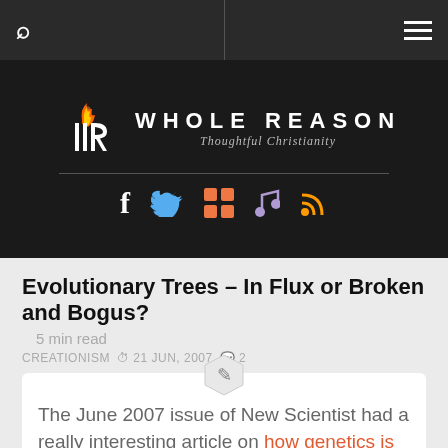Whole Reason – Thoughtful Christianity
[Figure (logo): Whole Reason logo with torch flame icon, white text WHOLE REASON and italic tagline Thoughtful Christianity, with social icons below: Facebook, Twitter, Windows/grid, music note, RSS]
Evolutionary Trees – In Flux or Broken and Bogus?
5 min read
CREATIONISM  ⊙ 21 JUN, 2007  💬 2
The June 2007 issue of New Scientist had a really interesting article on how genetics is totally upsetting the ancestral trees (since removed) that